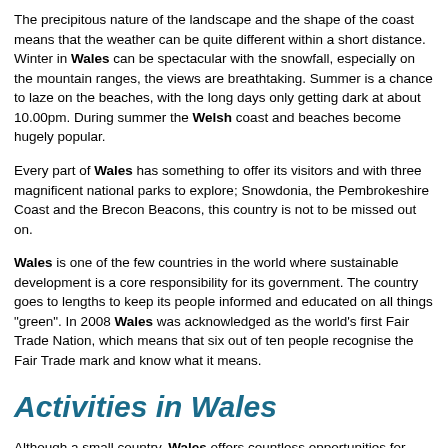The precipitous nature of the landscape and the shape of the coast means that the weather can be quite different within a short distance.  Winter in Wales can be spectacular with the snowfall, especially on the mountain ranges, the views are breathtaking.  Summer is a chance to laze on the beaches, with the long days only getting dark at about 10.00pm.  During summer the Welsh coast and beaches become hugely popular.
Every part of Wales has something to offer its visitors and with three magnificent national parks to explore;  Snowdonia, the Pembrokeshire Coast and the Brecon Beacons, this country is not to be missed out on.
Wales is one of the few countries in the world where sustainable development is a core responsibility for its government.  The country goes to lengths to keep its people informed and educated on all things "green".  In 2008 Wales was acknowledged as the world's first Fair Trade Nation, which means that six out of ten people recognise the Fair Trade mark and know what it means.
Activities in Wales
Although a small country, Wales offers countless opportunities for escaping into nature.  There are extensive networks of paths and valleys just waiting to be explored, and is a hikers paradise.  There are even more